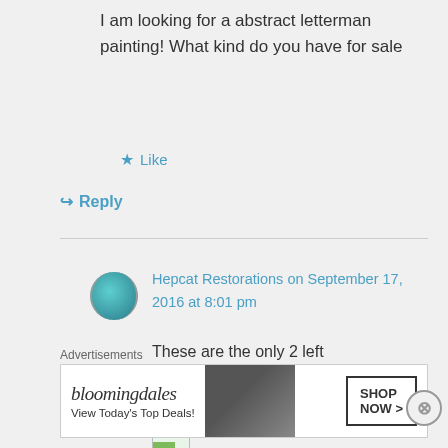I am looking for a abstract letterman painting! What kind do you have for sale
★ Like
↪ Reply
Hepcat Restorations on September 17, 2016 at 8:01 pm
These are the only 2 left
[Figure (photo): Broken image placeholder 1]
[Figure (photo): Broken image placeholder 2]
Advertisements
[Figure (other): Bloomingdale's advertisement banner: 'bloomingdales - View Today's Top Deals! - SHOP NOW >']